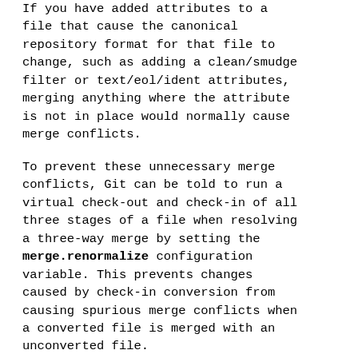If you have added attributes to a file that cause the canonical repository format for that file to change, such as adding a clean/smudge filter or text/eol/ident attributes, merging anything where the attribute is not in place would normally cause merge conflicts.
To prevent these unnecessary merge conflicts, Git can be told to run a virtual check-out and check-in of all three stages of a file when resolving a three-way merge by setting the merge.renormalize configuration variable. This prevents changes caused by check-in conversion from causing spurious merge conflicts when a converted file is merged with an unconverted file.
As long as a "smudge→clean" results in the same output as a "clean" even file that was already checked out,